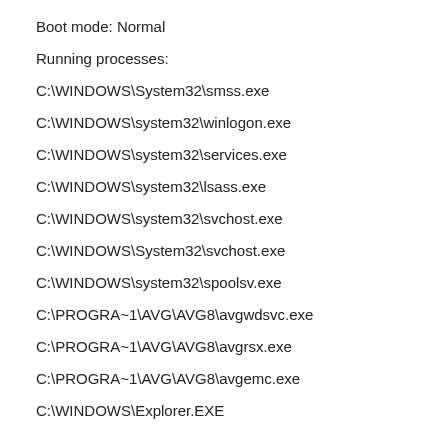Boot mode: Normal
Running processes:
C:\WINDOWS\System32\smss.exe
C:\WINDOWS\system32\winlogon.exe
C:\WINDOWS\system32\services.exe
C:\WINDOWS\system32\lsass.exe
C:\WINDOWS\system32\svchost.exe
C:\WINDOWS\System32\svchost.exe
C:\WINDOWS\system32\spoolsv.exe
C:\PROGRA~1\AVG\AVG8\avgwdsvc.exe
C:\PROGRA~1\AVG\AVG8\avgrsx.exe
C:\PROGRA~1\AVG\AVG8\avgemc.exe
C:\WINDOWS\Explorer.EXE